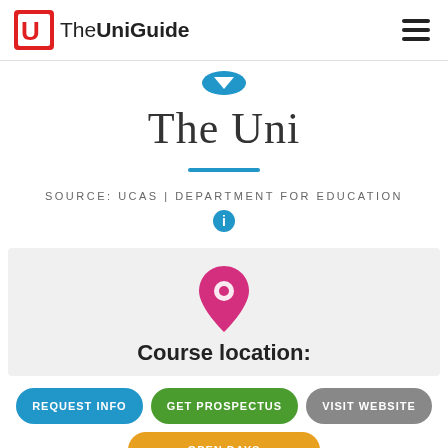The UniGuide
[Figure (logo): TheUniGuide logo with red square U icon and text]
The Uni
SOURCE: UCAS | DEPARTMENT FOR EDUCATION
[Figure (illustration): Pink/magenta map location pin marker on grey background]
Course location:
REQUEST INFO
GET PROSPECTUS
VISIT WEBSITE
OPEN DAYS